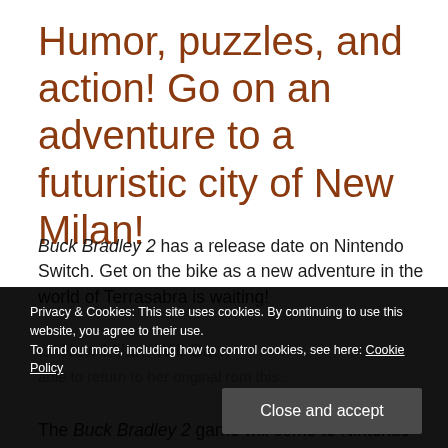Humor, puzzles, and action! Go on an adventure to a futuristic city of New Milan!
Buck Bradley 2 has a release date on Nintendo Switch. Get on the bike as a new adventure in the world of Terrasabra is waiting!
Privacy & Cookies: This site uses cookies. By continuing to use this website, you agree to their use. To find out more, including how to control cookies, see here: Cookie Policy
Close and accept
The Buck Bradley 2 game will come to Nintendo